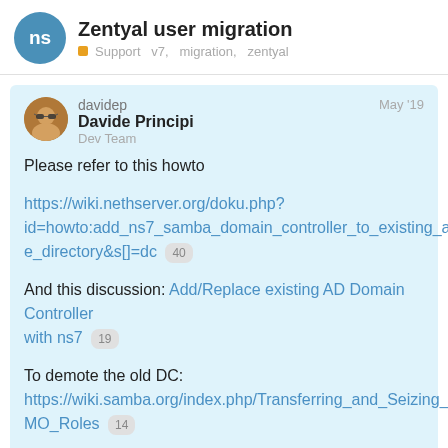Zentyal user migration
Support  v7,  migration,  zentyal
davidep  May '19
Davide Principi
Dev Team
Please refer to this howto

https://wiki.nethserver.org/doku.php?id=howto:add_ns7_samba_domain_controller_to_existing_active_directory&s[]=dc 40

And this discussion: Add/Replace existing AD Domain Controller with ns7 19

To demote the old DC:
https://wiki.samba.org/index.php/Transferring_and_Seizing_FSMO_Roles 14
1
9 / 9